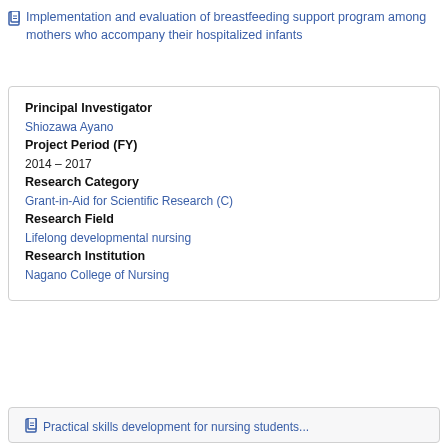Implementation and evaluation of breastfeeding support program among mothers who accompany their hospitalized infants
Principal Investigator
Shiozawa Ayano
Project Period (FY)
2014 – 2017
Research Category
Grant-in-Aid for Scientific Research (C)
Research Field
Lifelong developmental nursing
Research Institution
Nagano College of Nursing
Practical skills development for nursing students...